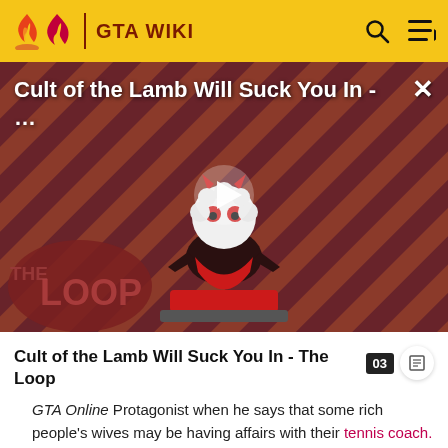GTA WIKI
[Figure (screenshot): Video thumbnail showing 'Cult of the Lamb Will Suck You In - ...' with a cartoon lamb character on a red diagonal striped background with a play button in the center and 'THE LOOP' logo at the bottom left. A close (X) button is at the top right.]
Cult of the Lamb Will Suck You In - The Loop
GTA Online Protagonist when he says that some rich people's wives may be having affairs with their tennis coach.